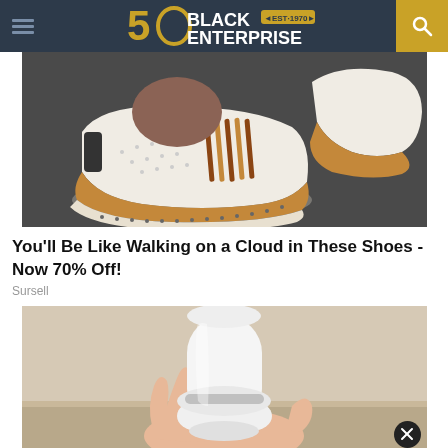Black Enterprise EST. 1970 (50th anniversary logo)
[Figure (photo): Close-up photo of white slip-on shoes with brown stripe detail and perforated upper, worn on a dark surface]
You'll Be Like Walking on a Cloud in These Shoes - Now 70% Off!
Sursell
[Figure (photo): Hand holding a white cylindrical device, partially cut off at bottom of page]